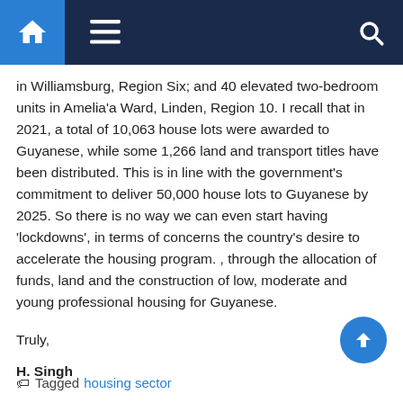Navigation bar with home, menu, and search icons
in Williamsburg, Region Six; and 40 elevated two-bedroom units in Amelia'a Ward, Linden, Region 10. I recall that in 2021, a total of 10,063 house lots were awarded to Guyanese, while some 1,266 land and transport titles have been distributed. This is in line with the government's commitment to deliver 50,000 house lots to Guyanese by 2025. So there is no way we can even start having 'lockdowns', in terms of concerns the country's desire to accelerate the housing program. , through the allocation of funds, land and the construction of low, moderate and young professional housing for Guyanese.
Truly,
H. Singh
Tagged housing sector